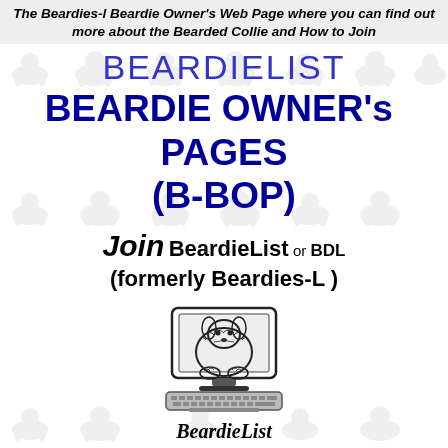The Beardies-l Beardie Owner's Web Page where you can find out more about the Bearded Collie and How to Join
BEARDIELIST
BEARDIE OWNER's PAGES (B-BOP)
Join BeardieList or BDL (formerly Beardies-L )
[Figure (illustration): Line drawing of a Bearded Collie dog sitting at a computer/keyboard, with the word BeardieList below it]
BeardieList
Instructions Here!
It is Free to Join the list that connects you by email to other Beardies owners